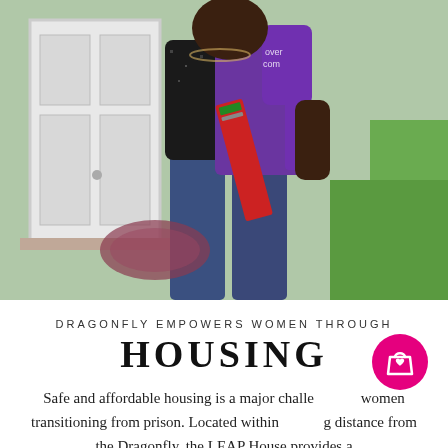[Figure (photo): Two women standing at a doorway outside a home, one wearing a purple shirt holding school supplies and a purple drawstring bag. Green grass visible in the background.]
DRAGONFLY EMPOWERS WOMEN THROUGH
HOUSING
Safe and affordable housing is a major challenge for women transitioning from prison. Located within walking distance from the Dragonfly, the LEAP House provides a